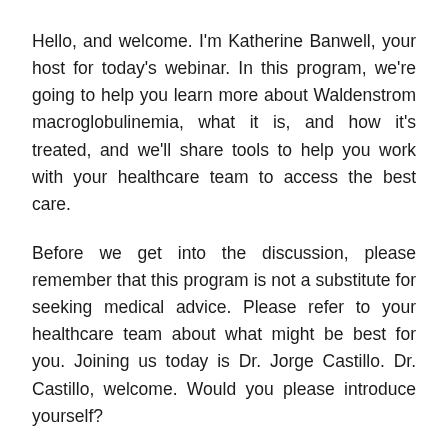Hello, and welcome. I'm Katherine Banwell, your host for today's webinar. In this program, we're going to help you learn more about Waldenstrom macroglobulinemia, what it is, and how it's treated, and we'll share tools to help you work with your healthcare team to access the best care.
Before we get into the discussion, please remember that this program is not a substitute for seeking medical advice. Please refer to your healthcare team about what might be best for you. Joining us today is Dr. Jorge Castillo. Dr. Castillo, welcome. Would you please introduce yourself?